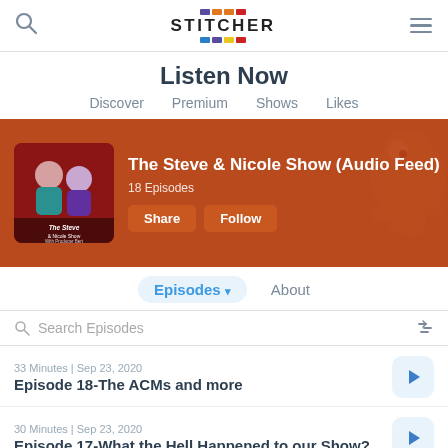Stitcher — Search, Listen Now, hamburger menu
Listen Now
Discover   Premium   Shows   Likes
[Figure (screenshot): Stitcher podcast app banner showing 'The Steve & Nicole Show (Audio Feed)' with podcast artwork, 18 Episodes, Share and Follow buttons on a brown/rust background with cartoon character art]
Episodes ▾   About
Search Episodes
33 Minutes | Sep 23, 2020
Episode 18-The ACMs and more
30 Minutes | Sep 23, 2020
Episode 17-What the Hell Happened to our Show?